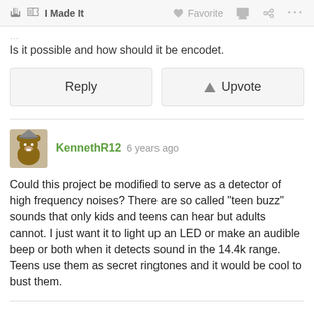I Made It   Favorite   ...
Is it possible and how should it be encodet.
Reply   Upvote
KennethR12 6 years ago
Could this project be modified to serve as a detector of high frequency noises? There are so called "teen buzz" sounds that only kids and teens can hear but adults cannot. I just want it to light up an LED or make an audible beep or both when it detects sound in the 14.4k range. Teens use them as secret ringtones and it would be cool to bust them.